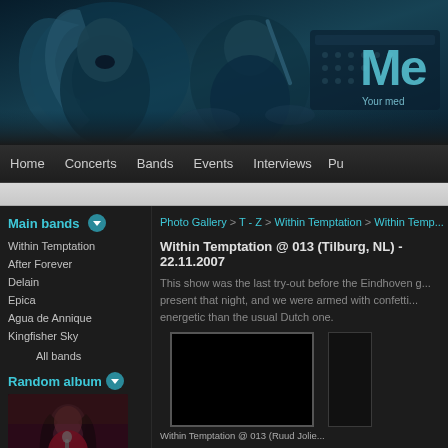[Figure (photo): Website header banner with two musicians (singer and drummer) in blue-tinted photo, with logo 'ME' and tagline 'Your med' visible on the right]
Home  Concerts  Bands  Events  Interviews  Pu
Photo Gallery > T - Z > Within Temptation > Within Temp...
Within Temptation @ 013 (Tilburg, NL) - 22.11.2007
This show was the last try-out before the Eindhoven g... present that night, and we were armed with confetti... energetic than the usual Dutch one.
Main bands
Within Temptation
After Forever
Delain
Epica
Agua de Annique
Kingfisher Sky
All bands
Random album
[Figure (photo): Random album thumbnail: woman with long dark hair singing into microphone, wearing red top, outdoor concert]
[Figure (photo): Photo thumbnail: black/dark photo, Within Temptation @ 013]
Within Temptation @ 013 (Ruud Jolie...